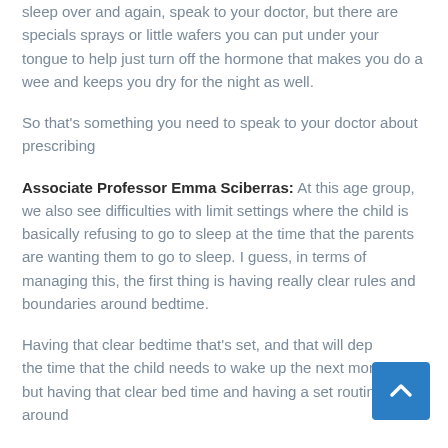sleep over and again, speak to your doctor, but there are specials sprays or little wafers you can put under your tongue to help just turn off the hormone that makes you do a wee and keeps you dry for the night as well.
So that's something you need to speak to your doctor about prescribing
Associate Professor Emma Sciberras: At this age group, we also see difficulties with limit settings where the child is basically refusing to go to sleep at the time that the parents are wanting them to go to sleep. I guess, in terms of managing this, the first thing is having really clear rules and boundaries around bedtime.
Having that clear bedtime that's set, and that will dep... the time that the child needs to wake up the next morning, but having that clear bed time and having a set routine around